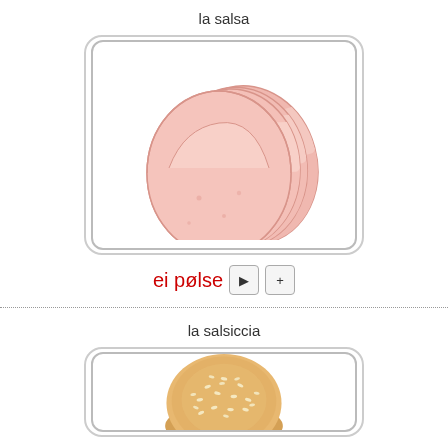la salsa
[Figure (photo): Sliced bologna/mortadella deli meat fanned out, pink color, on white background]
ei pølse
la salsiccia
[Figure (photo): Sesame seed bun / bread roll, golden brown, top portion visible]